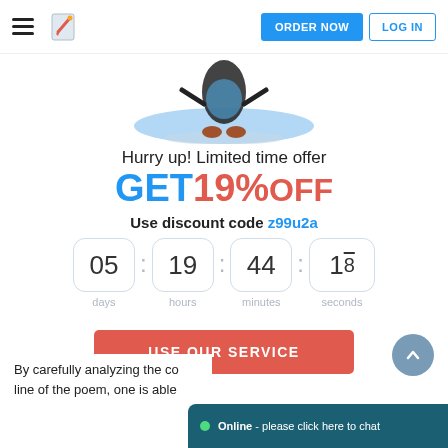[Figure (screenshot): Navigation bar with hamburger menu, logo, ORDER NOW button and LOG IN button]
[Figure (illustration): Partial illustration of a running character or superhero on a blue background]
Hurry up! Limited time offer
GET 19% OFF
Use discount code z99u2a
[Figure (infographic): Countdown timer showing 05 days : 19 hours : 44 minutes : 18 seconds]
USE OUR SERVICE
By carefully analyzing the co line of the poem, one is able